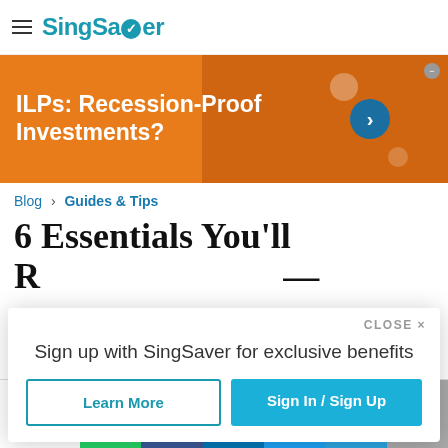SingSaver
[Figure (photo): Orange banner advertisement with text 'ILPs: Recession-Proof Investments?' and a person wearing glasses in the background, with a blue arrow button]
Blog › Guides & Tips
6 Essentials You'll Regret Not Buying...
Sign up with SingSaver for exclusive benefits
Learn More | Sign In / Sign Up
0 SHARES